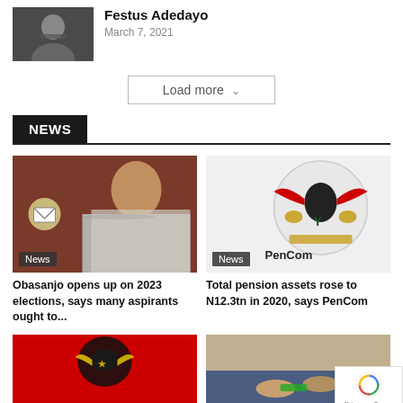[Figure (photo): Photo of a man in dark clothing with hands folded near chin]
Festus Adedayo
March 7, 2021
Load more
NEWS
[Figure (photo): Photo of Obasanjo in traditional grey agbada with envelope icon overlay. News label visible.]
[Figure (logo): PenCom logo - Nigerian coat of arms eagle on white circular background with PenCom text. News label visible.]
Obasanjo opens up on 2023 elections, says many aspirants ought to...
Total pension assets rose to N12.3tn in 2020, says PenCom
[Figure (photo): Nigerian coat of arms (eagle) on red background, bottom left article image]
[Figure (photo): Person handing money, bottom right article image]